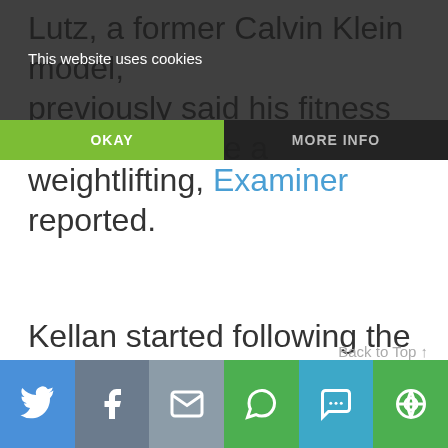Lutz, a former Calvin Klein model, previously said his fitness secrets include a low-carb Paleo diet, CrossFit workouts and weightlifting, Examiner reported.
[Figure (screenshot): Cookie consent banner overlaid on article text with OKAY (green) and MORE INFO (dark) buttons]
Kellan started following the Paleo diet and doing CrossFit in 2014 to get in shape for The Legend of Hercules. The chiseled heartthrob said the Paleo diet enabled him to reduce body fat and stay healthy despite hours of daily grueling training and a rough shooting schedule.
Back to Top ↑
[Figure (infographic): Social share bar with Twitter, Facebook, Email, WhatsApp, SMS, and other share buttons]